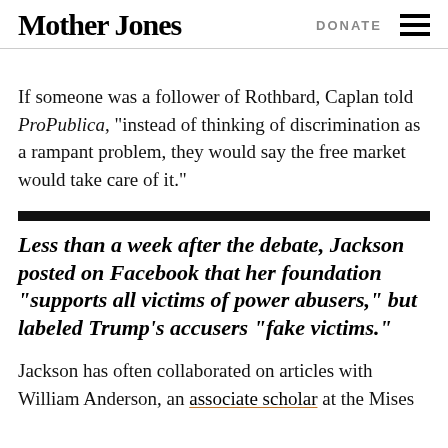Mother Jones | DONATE
If someone was a follower of Rothbard, Caplan told ProPublica, “instead of thinking of discrimination as a rampant problem, they would say the free market would take care of it.”
Less than a week after the debate, Jackson posted on Facebook that her foundation “supports all victims of power abusers,” but labeled Trump’s accusers “fake victims.”
Jackson has often collaborated on articles with William Anderson, an associate scholar at the Mises